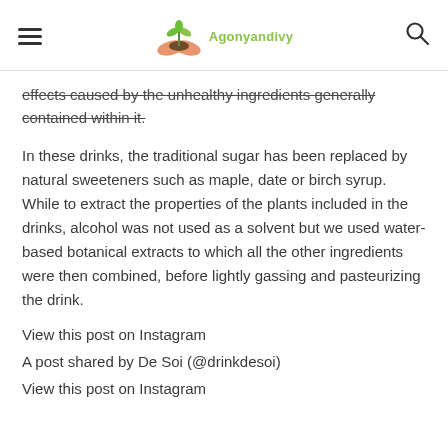Agonyandivy
effects caused by the unhealthy ingredients generally contained within it.
In these drinks, the traditional sugar has been replaced by natural sweeteners such as maple, date or birch syrup. While to extract the properties of the plants included in the drinks, alcohol was not used as a solvent but we used water-based botanical extracts to which all the other ingredients were then combined, before lightly gassing and pasteurizing the drink.
View this post on Instagram
A post shared by De Soi (@drinkdesoi)
View this post on Instagram